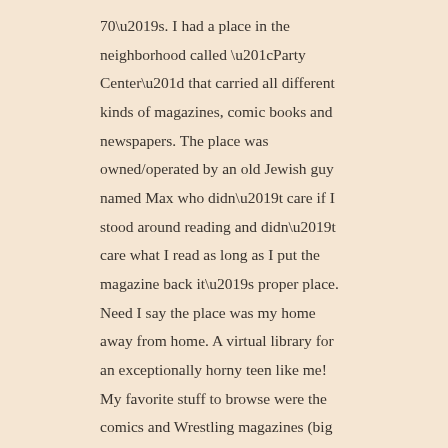70's. I had a place in the neighborhood called “Party Center” that carried all different kinds of magazines, comic books and newspapers. The place was owned/operated by an old Jewish guy named Max who didn’t care if I stood around reading and didn’t care what I read as long as I put the magazine back it’s proper place. Need I say the place was my home away from home. A virtual library for an exceptionally horny teen like me! My favorite stuff to browse were the comics and Wrestling magazines (big fan, still